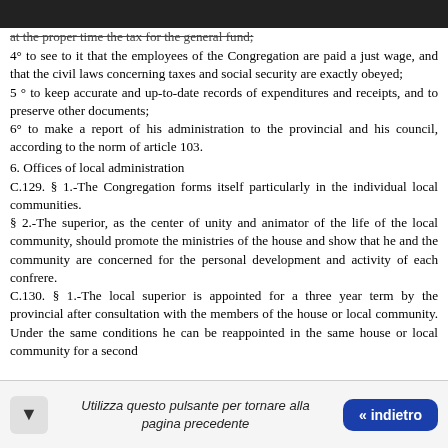at the proper time the tax for the general fund;
4° to see to it that the employees of the Congregation are paid a just wage, and that the civil laws concerning taxes and social security are exactly obeyed;
5 ° to keep accurate and up-to-date records of expenditures and receipts, and to preserve other documents;
6° to make a report of his administration to the provincial and his council, according to the norm of article 103.
6. Offices of local administration
C.129. § 1.-The Congregation forms itself particularly in the individual local communities.
§ 2.-The superior, as the center of unity and animator of the life of the local community, should promote the ministries of the house and show that he and the community are concerned for the personal development and activity of each confrere.
C.130. § 1.-The local superior is appointed for a three year term by the provincial after consultation with the members of the house or local community. Under the same conditions he can be reappointed in the same house or local community for a second
Utilizza questo pulsante per tornare alla pagina precedente « indietro